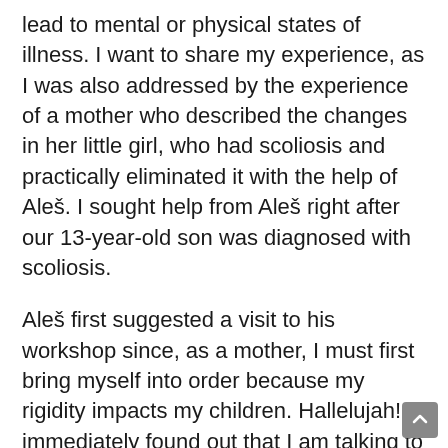lead to mental or physical states of illness. I want to share my experience, as I was also addressed by the experience of a mother who described the changes in her little girl, who had scoliosis and practically eliminated it with the help of Aleš. I sought help from Aleš right after our 13-year-old son was diagnosed with scoliosis.
Aleš first suggested a visit to his workshop since, as a mother, I must first bring myself into order because my rigidity impacts my children. Hallelujah! I immediately found out that I am talking to someone who knows about the deep causes of physical irregularities. I visited his workshop called 'The influence of emotions and stress on chronic pain, fatigue, depression, headaches, and muscle rigidity.'